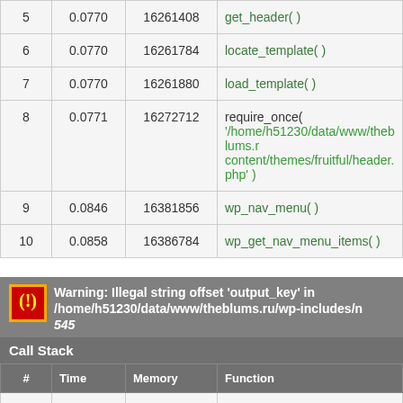| # | Time | Memory | Function |
| --- | --- | --- | --- |
| 5 | 0.0770 | 16261408 | get_header( ) |
| 6 | 0.0770 | 16261784 | locate_template( ) |
| 7 | 0.0770 | 16261880 | load_template( ) |
| 8 | 0.0771 | 16272712 | require_once( '/home/h51230/data/www/theblums.ru/wp-content/themes/fruitful/header.php' ) |
| 9 | 0.0846 | 16381856 | wp_nav_menu( ) |
| 10 | 0.0858 | 16386784 | wp_get_nav_menu_items( ) |
Warning: Illegal string offset 'output_key' in /home/h51230/data/www/theblums.ru/wp-includes/n 545
Call Stack
| # | Time | Memory | Function |
| --- | --- | --- | --- |
| 1 | 0.0001 | 409104 | { main }( ) |